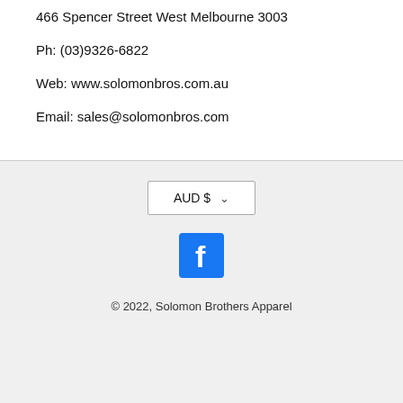466 Spencer Street West Melbourne 3003
Ph: (03)9326-6822
Web: www.solomonbros.com.au
Email: sales@solomonbros.com
[Figure (other): AUD $ currency selector dropdown button]
[Figure (logo): Facebook logo icon, white F on dark background]
© 2022, Solomon Brothers Apparel